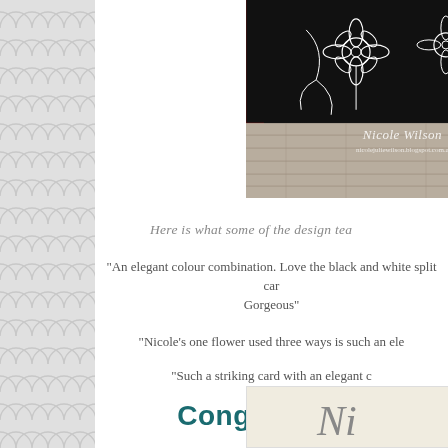[Figure (photo): A black card with white floral outline stamp design (flowers and leaves), with a dark red strip on the left side, placed on a white wood surface. Watermark reads 'Nicole Wilson / nicolejuliewilson.blogspot.com.au']
Here is what some of the design tea
"An elegant colour combination. Love the black and white split card... Gorgeous"
"Nicole's one flower used three ways is such an ele...
"Such a striking card with an elegant c...
Congratulations
[Figure (photo): Partial view of a handwritten script card at the bottom of the page]